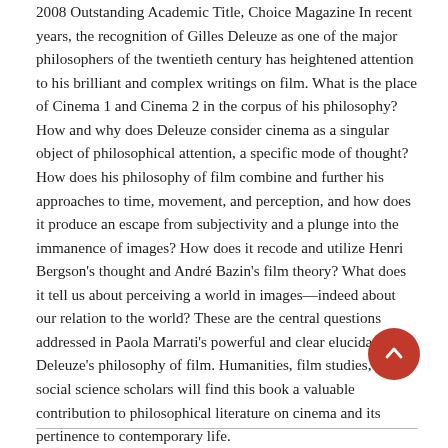2008 Outstanding Academic Title, Choice Magazine In recent years, the recognition of Gilles Deleuze as one of the major philosophers of the twentieth century has heightened attention to his brilliant and complex writings on film. What is the place of Cinema 1 and Cinema 2 in the corpus of his philosophy? How and why does Deleuze consider cinema as a singular object of philosophical attention, a specific mode of thought? How does his philosophy of film combine and further his approaches to time, movement, and perception, and how does it produce an escape from subjectivity and a plunge into the immanence of images? How does it recode and utilize Henri Bergson's thought and André Bazin's film theory? What does it tell us about perceiving a world in images—indeed about our relation to the world? These are the central questions addressed in Paola Marrati's powerful and clear elucidation of Deleuze's philosophy of film. Humanities, film studies, and social science scholars will find this book a valuable contribution to philosophical literature on cinema and its pertinence to contemporary life.